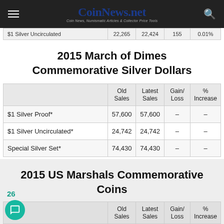CoinNews.net — Coin News, Numismatic Articles & Collector Price Tools
|  | Old Sales | Latest Sales | Gain/Loss | % Increase |
| --- | --- | --- | --- | --- |
| $1 Silver Uncirculated | 22,265 | 22,424 | 155 | 0.01% |
2015 March of Dimes Commemorative Silver Dollars
|  | Old Sales | Latest Sales | Gain/Loss | % Increase |
| --- | --- | --- | --- | --- |
| $1 Silver Proof* | 57,600 | 57,600 | – | – |
| $1 Silver Uncirculated* | 24,742 | 24,742 | – | – |
| Special Silver Set* | 74,430 | 74,430 | – | – |
2015 US Marshals Commemorative Coins
|  | Old Sales | Latest Sales | Gain/Loss | % Increase |
| --- | --- | --- | --- | --- |